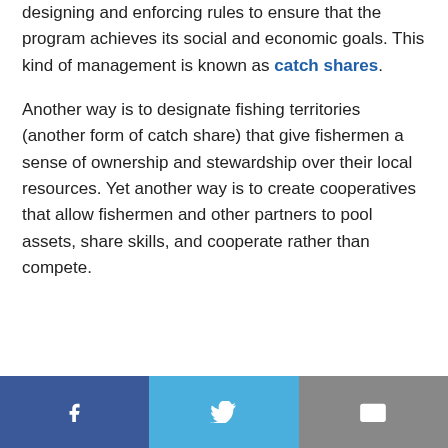designing and enforcing rules to ensure that the program achieves its social and economic goals.  This kind of management is known as catch shares.
Another way is to designate fishing territories (another form of catch share) that give fishermen a sense of ownership and stewardship over their local resources.  Yet another way is to create cooperatives that allow fishermen and other partners to pool assets, share skills, and cooperate rather than compete.
[Figure (infographic): Social sharing bar with three buttons: Facebook (dark blue), Twitter (light blue), and Email (gray), each with respective icons]